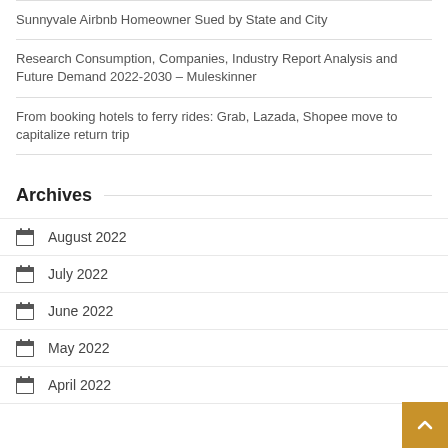Sunnyvale Airbnb Homeowner Sued by State and City
Research Consumption, Companies, Industry Report Analysis and Future Demand 2022-2030 – Muleskinner
From booking hotels to ferry rides: Grab, Lazada, Shopee move to capitalize return trip
Archives
August 2022
July 2022
June 2022
May 2022
April 2022